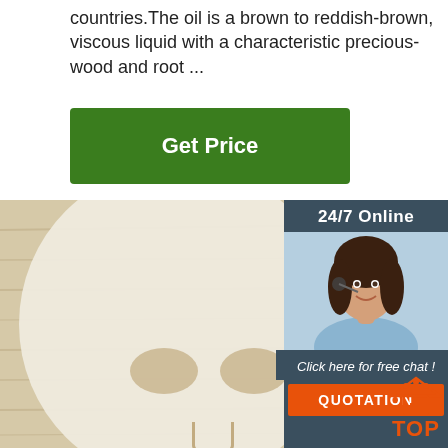countries. The oil is a brown to reddish-brown, viscous liquid with a characteristic precious-wood and root ...
[Figure (other): Green 'Get Price' button]
[Figure (photo): Photo of a white sheet face mask laid flat on a light wood surface, showing cutouts for eyes, nose, and mouth]
[Figure (infographic): Sidebar with '24/7 Online' header, customer service agent photo, 'Click here for free chat!' text, and orange 'QUOTATION' button]
[Figure (other): Orange 'TOP' button with house/dot icon at bottom right of image]